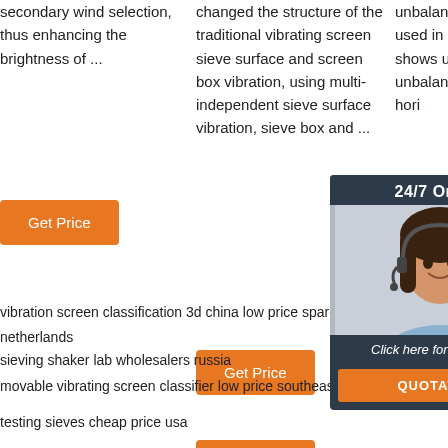secondary wind selection, thus enhancing the brightness of ...
[Figure (other): Orange 'Get Price' button]
changed the structure of the traditional vibrating screen sieve surface and screen box vibration, using multi-independent sieve surface vibration, sieve box and ...
[Figure (other): Orange 'Get Price' button]
unbalance exciters can be used in parallel. Above figure shows use of three unbalance exciters vibrating hori...
[Figure (other): 24/7 Online chat widget with customer service photo, 'Click here for free chat!' text and QUOTATION button]
[Figure (other): Orange 'G...' (Get Price) button partially visible]
vibration screen classification 3d china low price spare parts netherlands
sieving shaker lab wholesalers russia
movable vibrating screen classifier low price southeast asia
testing sieves cheap price usa
[Figure (other): TOP button icon with orange dots and bold orange TOP text]